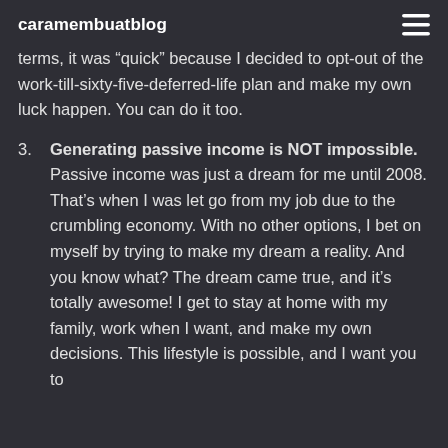caramembuatblog
terms, it was “quick” because I decided to opt-out of the work-till-sixty-five-deferred-life plan and make my own luck happen. You can do it too.
3. Generating passive income is NOT impossible. Passive income was just a dream for me until 2008. That’s when I was let go from my job due to the crumbling economy. With no other options, I bet on myself by trying to make my dream a reality. And you know what? The dream came true, and it’s totally awesome! I get to stay at home with my family, work when I want, and make my own decisions. This lifestyle is possible, and I want you to